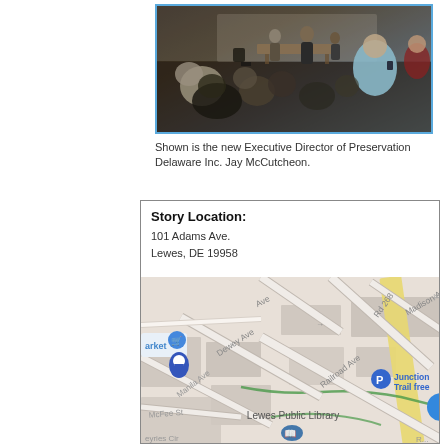[Figure (photo): A group of people attending a meeting in a community hall. Two or three people stand at the front near a table while attendees sit and stand around the room. A person in a light blue shirt is visible in the foreground on the right.]
Shown is the new Executive Director of Preservation Delaware Inc. Jay McCutcheon.
Story Location:
101 Adams Ave.
Lewes, DE 19958
[Figure (map): A Google Maps screenshot showing the area around 101 Adams Ave, Lewes, DE 19958. Streets visible include Dewey Ave, Madison Ave, Manila Ave, Railroad Ave, McFee St, and a road labeled Rd 268. A parking icon labeled 'Junction Trail free' is visible on the right side. 'Lewes Public Library' is labeled in the lower center with a library icon. A shopping cart icon labeled 'arket' is visible on the left.]